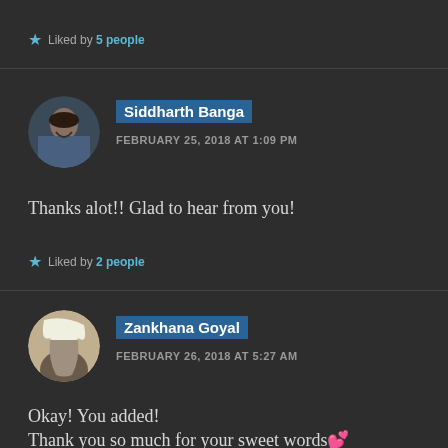★ Liked by 5 people
[Figure (photo): Circular avatar of Siddharth Banga — a man in a blue shirt looking downward]
Siddharth Banga
FEBRUARY 25, 2018 AT 1:09 PM
Thanks alot!! Glad to hear from you!
★ Liked by 2 people
[Figure (photo): Circular avatar of Zankhana Goyal — illustrated female character]
Zankhana Goyal
FEBRUARY 26, 2018 AT 5:27 AM
Okay! You added!
Thank you so much for your sweet words 💕